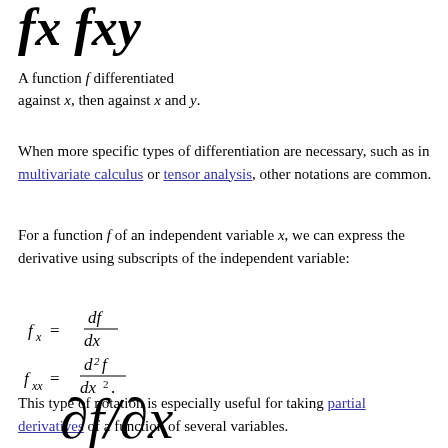fx  fxy
A function f differentiated against x, then against x and y.
When more specific types of differentiation are necessary, such as in multivariate calculus or tensor analysis, other notations are common.
For a function f of an independent variable x, we can express the derivative using subscripts of the independent variable:
This type of notation is especially useful for taking partial derivatives of a function of several variables.